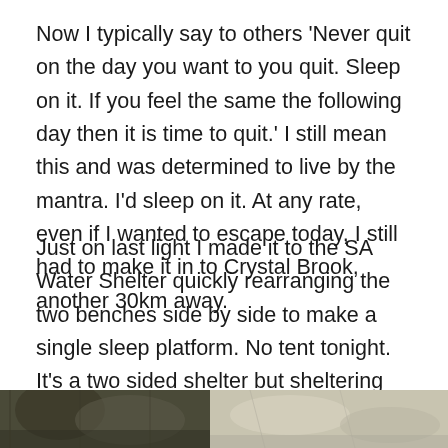Now I typically say to others 'Never quit on the day you want to you quit. Sleep on it. If you feel the same the following day then it is time to quit.' I still mean this and was determined to live by the mantra. I'd sleep on it. At any rate, even if I wanted to escape today, I still had to make it in to Crystal Brook, another 30km away.
Just on last light I made it to the SA Water Shelter quickly rearranging the two benches side by side to make a single sleep platform. No tent tonight. It's a two sided shelter but sheltering the winds from the right sides. I was shattered after such a long day. Still mulling over the decision to quit I kind of accepted the decision had been made and went about devouring two main meals from my food bag to cut weight down for tomorrow.
[Figure (photo): Bottom strip showing two partial outdoor/nature photos side by side, partially cut off at page bottom.]